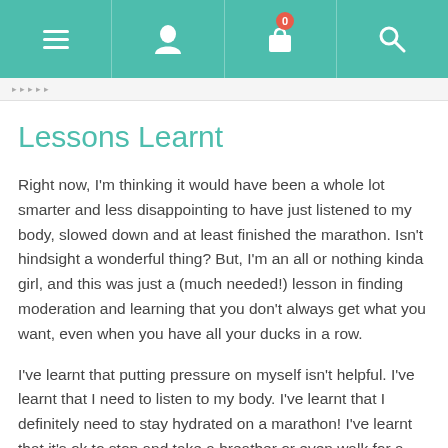[Figure (screenshot): Navigation bar with hamburger menu, person icon, shopping bag icon with badge showing 0, and search icon, all on teal background]
breadcrumb navigation bar
Lessons Learnt
Right now, I'm thinking it would have been a whole lot smarter and less disappointing to have just listened to my body, slowed down and at least finished the marathon. Isn't hindsight a wonderful thing? But, I'm an all or nothing kinda girl, and this was just a (much needed!) lesson in finding moderation and learning that you don't always get what you want, even when you have all your ducks in a row.
I've learnt that putting pressure on myself isn't helpful. I've learnt that I need to listen to my body. I've learnt that I definitely need to stay hydrated on a marathon! I've learnt that it's ok to stop and take a breather or even walk for a little bit of the marathon